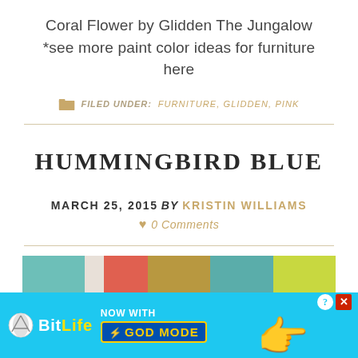Coral Flower by Glidden The Jungalow *see more paint color ideas for furniture here
FILED UNDER: FURNITURE, GLIDDEN, PINK
HUMMINGBIRD BLUE
MARCH 25, 2015 BY KRISTIN WILLIAMS
♥ 0 Comments
[Figure (photo): Colorful paint swatches showing teal, white, coral/red, gold/brown, teal, and lime green colors]
[Figure (other): BitLife advertisement banner: NOW WITH GOD MODE, showing lightning bolt and pointing hand graphics]